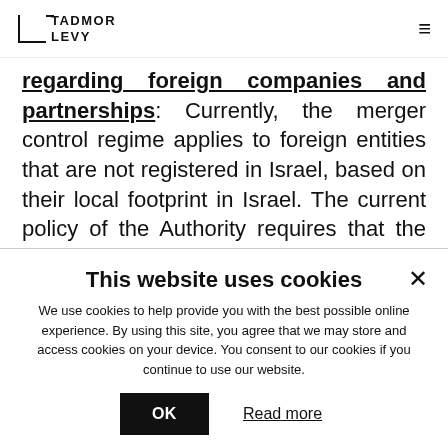TADMOR LEVY
regarding foreign companies and partnerships: Currently, the merger control regime applies to foreign entities that are not registered in Israel, based on their local footprint in Israel. The current policy of the Authority requires that the foreign entity
This website uses cookies
We use cookies to help provide you with the best possible online experience. By using this site, you agree that we may store and access cookies on your device. You consent to our cookies if you continue to use our website.
OK  Read more